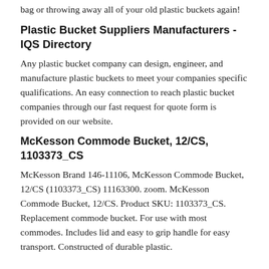bag or throwing away all of your old plastic buckets again!
Plastic Bucket Suppliers Manufacturers - IQS Directory
Any plastic bucket company can design, engineer, and manufacture plastic buckets to meet your companies specific qualifications. An easy connection to reach plastic bucket companies through our fast request for quote form is provided on our website.
McKesson Commode Bucket, 12/CS, 1103373_CS
McKesson Brand 146-11106, McKesson Commode Bucket, 12/CS (1103373_CS) 11163300. zoom. McKesson Commode Bucket, 12/CS. Product SKU: 1103373_CS. Replacement commode bucket. For use with most commodes. Includes lid and easy to grip handle for easy transport. Constructed of durable plastic.